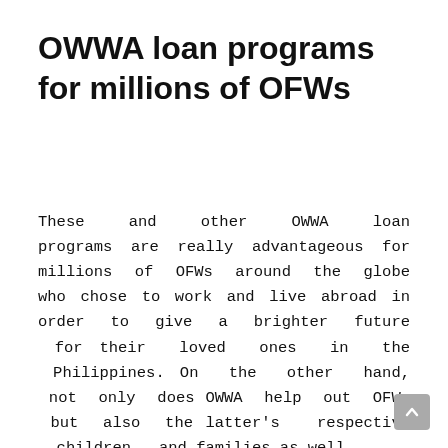OWWA loan programs for millions of OFWs
These and other OWWA loan programs are really advantageous for millions of OFWs around the globe who chose to work and live abroad in order to give a brighter future for their loved ones in the Philippines. On the other hand, not only does OWWA help out OFWs but also the latter's respective children and families as well.